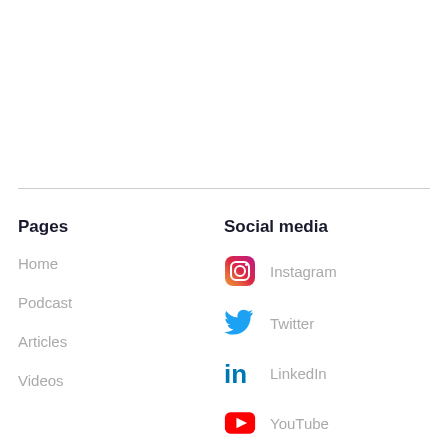Pages
Home
Podcast
Articles
Videos
Social media
Instagram
Twitter
LinkedIn
YouTube